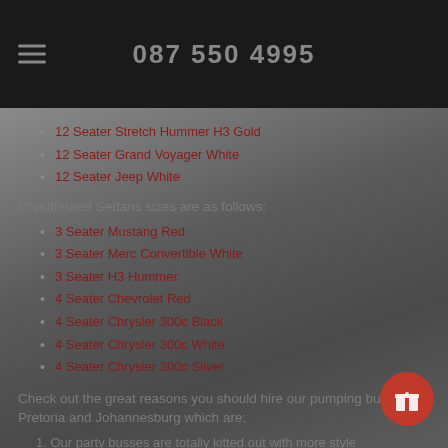087 550 4995
12 Seater Stretch Hummer H3 Gold
12 Seater Grand Voyager White
12 Seater Jeep White
Chauffeured Sedans sizes are as follows:
3 Seater Mustang Red
3 Seater Merc Convertible White
3 Seater H3 Hummer
4 Seater Chevrolet Red
4 Seater Chrysler 300c Black
4 Seater Chrysler 300c White
4 Seater Chrysler 300c Silver
Check out the great reasons you should hire our pumping buses in Pretoria and Johannesburg which are:
1. Our party busses are totally kitted out with more style